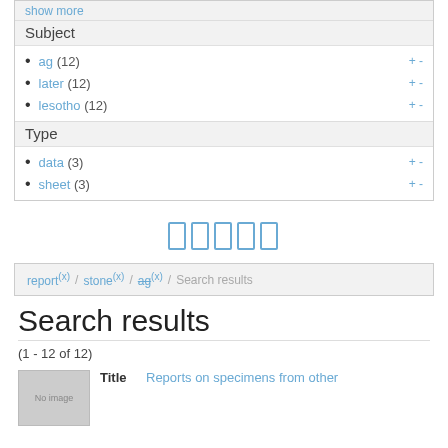show more
Subject
ag (12)
later (12)
lesotho (12)
Type
data (3)
sheet (3)
[Figure (other): Pagination icons row with 5 page/document icons]
report (x) / stone (x) / ag (x) / Search results
Search results
(1 - 12 of 12)
Title   Reports on specimens from other